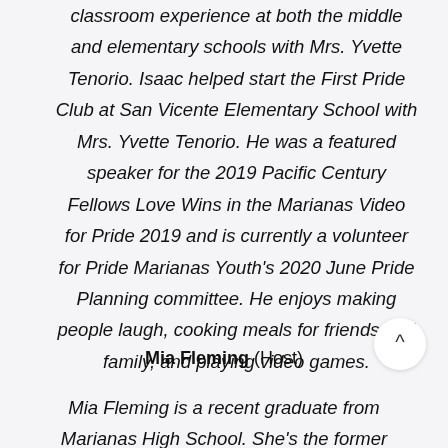classroom experience at both the middle and elementary schools with Mrs. Yvette Tenorio. Isaac helped start the First Pride Club at San Vicente Elementary School with Mrs. Yvette Tenorio. He was a featured speaker for the 2019 Pacific Century Fellows Love Wins in the Marianas Video for Pride 2019 and is currently a volunteer for Pride Marianas Youth's 2020 June Pride Planning committee. He enjoys making people laugh, cooking meals for friends and family, and playing video games.
Mia Fleming (Host)
Mia Fleming is a recent graduate from Marianas High School. She's the former president of the 4-H Dolphins